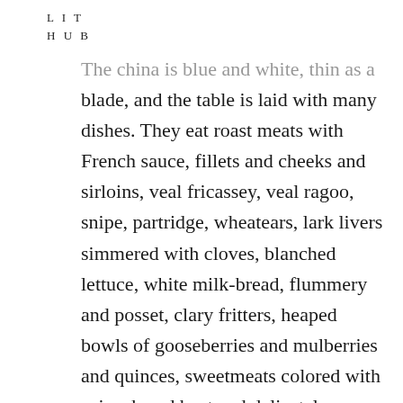L I T
H U B
The china is blue and white, thin as a blade, and the table is laid with many dishes. They eat roast meats with French sauce, fillets and cheeks and sirloins, veal fricassey, veal ragoo, snipe, partridge, wheatears, lark livers simmered with cloves, blanched lettuce, white milk-bread, flummery and posset, clary fritters, heaped bowls of gooseberries and mulberries and quinces, sweetmeats colored with spinach and beet and delicately fashioned into